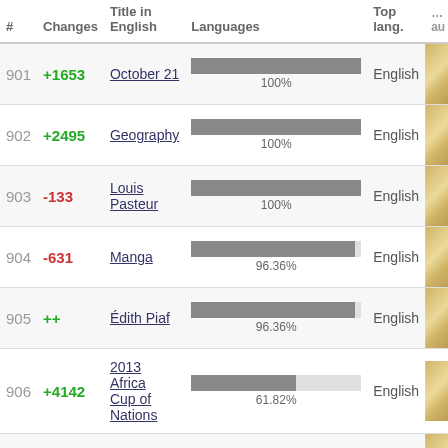| # | Changes | Title in English | Languages | Top lang. |  |
| --- | --- | --- | --- | --- | --- |
| 901 | +1653 | October 21 | 100% | English |  |
| 902 | +2495 | Geography | 100% | English |  |
| 903 | -133 | Louis Pasteur | 100% | English |  |
| 904 | -631 | Manga | 96.36% | English |  |
| 905 | ++ | Édith Piaf | 96.36% | English |  |
| 906 | +4142 | 2013 Africa Cup of Nations | 61.82% | English |  |
| 907 | +1237 | Bitcoin | 96.36% | English |  |
| 908 |  | Fernando |  | English |  |